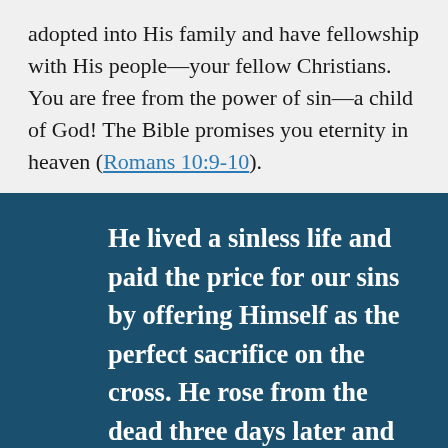adopted into His family and have fellowship with His people—your fellow Christians. You are free from the power of sin—a child of God! The Bible promises you eternity in heaven (Romans 10:9-10).
He lived a sinless life and paid the price for our sins by offering Himself as the perfect sacrifice on the cross. He rose from the dead three days later and